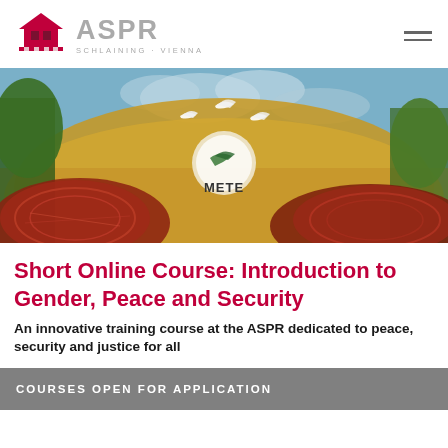ASPR SCHLAINING · VIENNA
[Figure (photo): A colourful mural painting depicting peace imagery — white doves flying above a golden field, with a peace symbol in the centre, the word 'METE' written on it, and decorative red patterned shapes in the foreground. Trees visible on the left and right edges.]
Short Online Course: Introduction to Gender, Peace and Security
An innovative training course at the ASPR dedicated to peace, security and justice for all
COURSES OPEN FOR APPLICATION